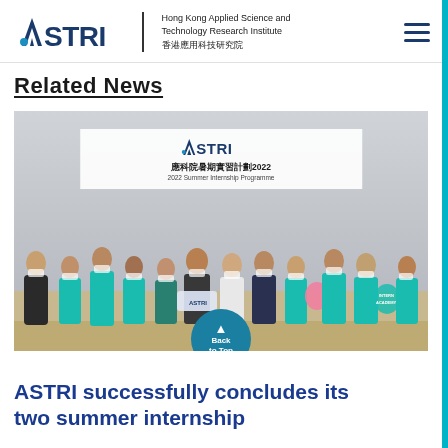ASTRI — Hong Kong Applied Science and Technology Research Institute 香港應用科技研究院
Related News
[Figure (photo): Group photo of students and staff at ASTRI 2022 Summer Internship Programme event. About 12 people standing in front of a banner reading ASTRI 應科院暑期實習計劃2022 / 2022 Summer Internship Programme. Participants wearing teal/blue ASTRI t-shirts and masks, holding props including an ASTRI logo sign.]
ASTRI successfully concludes its two summer internship